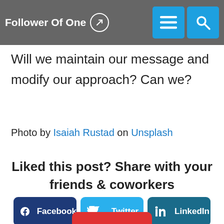Follower Of One
respond. But what is your reaction to my thoughts? Care to share? I appreciate your thoughts and feedback on this topic. Our times have changed.
Will we maintain our message and modify our approach? Can we?
Photo by Isaiah Rustad on Unsplash
Liked this post? Share with your friends & coworkers
[Figure (infographic): Social share buttons: Facebook (dark blue), Twitter (light blue), LinkedIn (teal)]
[Figure (infographic): Red share button (partial, bottom)]